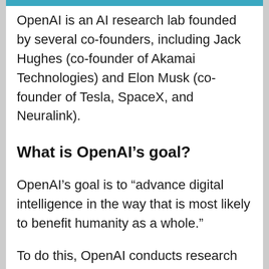OpenAI is an AI research lab founded by several co-founders, including Jack Hughes (co-founder of Akamai Technologies) and Elon Musk (co-founder of Tesla, SpaceX, and Neuralink).
What is OpenAI’s goal?
OpenAI’s goal is to “advance digital intelligence in the way that is most likely to benefit humanity as a whole.”
To do this, OpenAI conducts research in areas, including machine